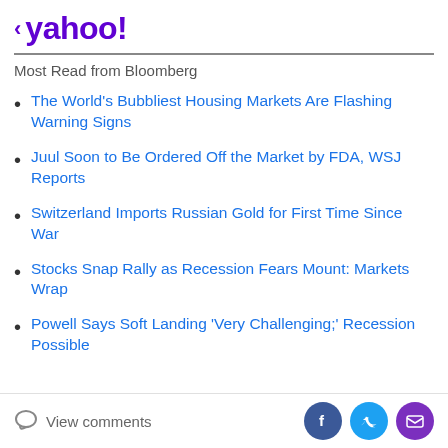< yahoo!
Most Read from Bloomberg
The World's Bubbliest Housing Markets Are Flashing Warning Signs
Juul Soon to Be Ordered Off the Market by FDA, WSJ Reports
Switzerland Imports Russian Gold for First Time Since War
Stocks Snap Rally as Recession Fears Mount: Markets Wrap
Powell Says Soft Landing 'Very Challenging;' Recession Possible
View comments